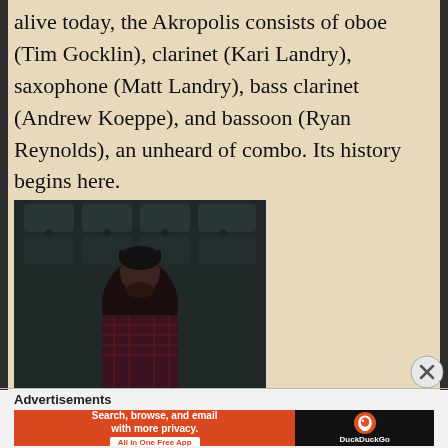alive today, the Akropolis consists of oboe (Tim Gocklin), clarinet (Kari Landry), saxophone (Matt Landry), bass clarinet (Andrew Koeppe), and bassoon (Ryan Reynolds), an unheard of combo. Its history begins here.
[Figure (photo): A man with a beard wearing a dark beanie hat and a dark red plaid shirt, sitting in front of a dark ornate metal door background.]
Advertisements
[Figure (screenshot): DuckDuckGo advertisement banner: orange left side with text 'Search, browse, and email with more privacy. All in One Free App' and dark right side with DuckDuckGo duck logo and brand name.]